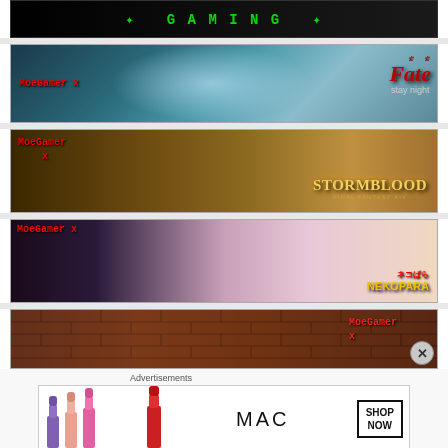[Figure (screenshot): Dark banner with green glowing text, anime/gaming style, black background]
[Figure (screenshot): MoeGamer x Fate/stay night banner with anime character and teal background]
[Figure (screenshot): MoeGamer x Stormblood (Final Fantasy XIV) banner with warrior characters on golden background]
[Figure (screenshot): MoeGamer x NEKOPARA banner with catgirl characters on purple/pink background]
[Figure (screenshot): MoeGamer x partial banner on brick wall background, partially cut off]
Advertisements
[Figure (screenshot): MAC cosmetics advertisement banner showing lipsticks and SHOP NOW button]